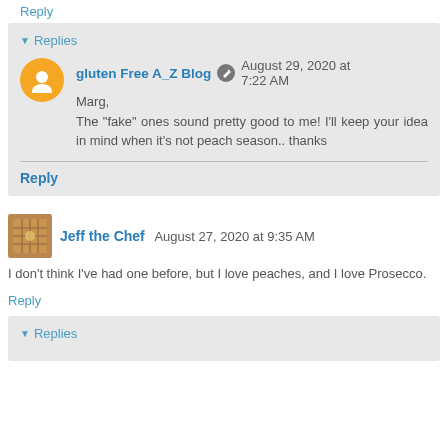Reply
Replies
gluten Free A_Z Blog  August 29, 2020 at 7:22 AM
Marg,
The "fake" ones sound pretty good to me! I'll keep your idea in mind when it's not peach season.. thanks
Reply
Jeff the Chef  August 27, 2020 at 9:35 AM
I don't think I've had one before, but I love peaches, and I love Prosecco.
Reply
Replies